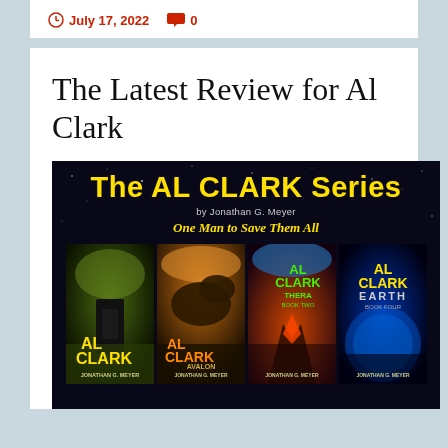July 17, 2022   0
The Latest Review for Al Clark
[Figure (illustration): The AL CLARK Series banner image by Jonathan G. Meyer with tagline 'One Man to Save Them All' showing four book covers: Al Clark, Al Clark Avalon, Al Clark Thera, Al Clark Earth]